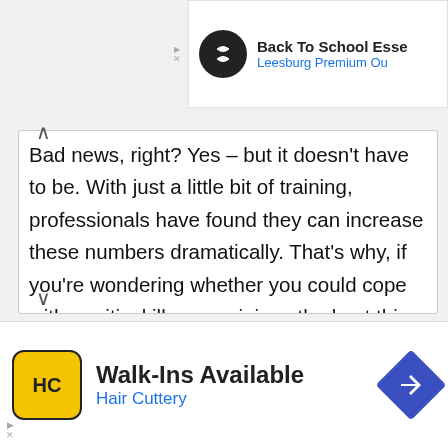[Figure (screenshot): Top advertisement banner: Back To School Essentials, Leesburg Premium Outlets]
Bad news, right? Yes – but it doesn't have to be. With just a little bit of training, professionals have found they can increase these numbers dramatically. That's why, if you're wondering whether you could cope with a critical illness or injury, the best thing you can do is participate in training programs, which will boost your skills
[Figure (screenshot): Bottom advertisement: Walk-Ins Available, Hair Cuttery, with HC logo and navigation icon]